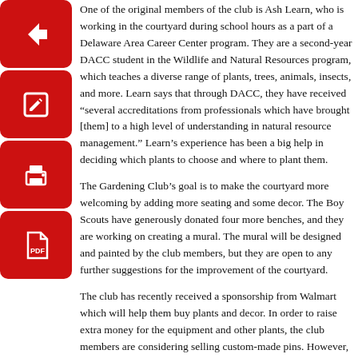[Figure (illustration): Four red rounded-rectangle icon buttons stacked vertically on the left side: back arrow, edit/pencil, print, and PDF file icons.]
One of the original members of the club is Ash Learn, who is working in the courtyard during school hours as a part of a Delaware Area Career Center program. They are a second-year DACC student in the Wildlife and Natural Resources program, which teaches a diverse range of plants, trees, animals, insects, and more. Learn says that through DACC, they have received “several accreditations from professionals which have brought [them] to a high level of understanding in natural resource management.” Learn’s experience has been a big help in deciding which plants to choose and where to plant them.
The Gardening Club’s goal is to make the courtyard more welcoming by adding more seating and some decor. The Boy Scouts have generously donated four more benches, and they are working on creating a mural. The mural will be designed and painted by the club members, but they are open to any further suggestions for the improvement of the courtyard.
The club has recently received a sponsorship from Walmart which will help them buy plants and decor. In order to raise extra money for the equipment and other plants, the club members are considering selling custom-made pins. However, most of the tools that will be used are contributed by the club members themselves.
After the senior courtyard has been completed, the Gardening club hopes to revamp the art courtyard as well. They plan on keeping the art that is